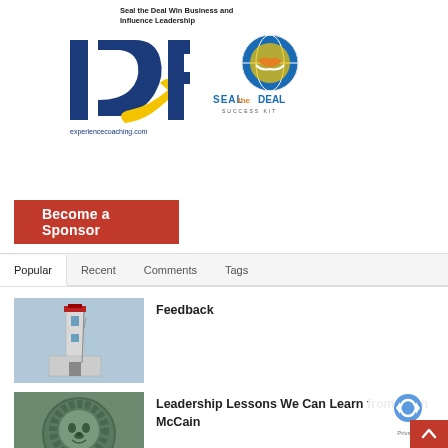Seal the Deal Win Business and Influence Leadership
[Figure (logo): ICF (International Coaching Federation) logo with experiencecoaching.com text]
[Figure (logo): Seal the Deal Success Kit logo with globe handshake icon]
Become a Sponsor
Popular | Recent | Comments | Tags
[Figure (photo): Lighthouse photo thumbnail]
Feedback
[Figure (photo): Stone lion sculpture photo thumbnail]
Leadership Lessons We Can Learn from John McCain